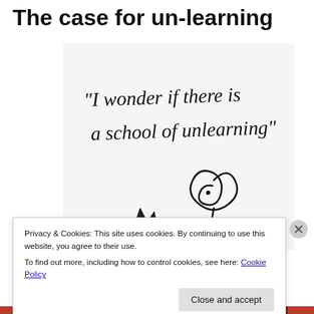The case for un-learning
[Figure (illustration): Black and white hand-drawn illustration showing the handwritten text '"I wonder if there is a school of unlearning"' with a sketch of a child figure sitting below]
Privacy & Cookies: This site uses cookies. By continuing to use this website, you agree to their use.
To find out more, including how to control cookies, see here: Cookie Policy
Close and accept